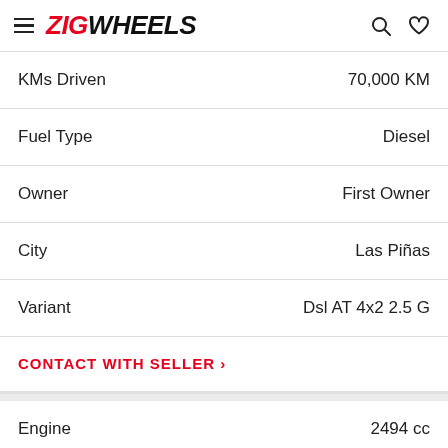ZIGWHEELS
| Field | Value |
| --- | --- |
| KMs Driven | 70,000 KM |
| Fuel Type | Diesel |
| Owner | First Owner |
| City | Las Piñas |
| Variant | Dsl AT 4x2 2.5 G |
CONTACT WITH SELLER >
| Field | Value |
| --- | --- |
| Engine | 2494 cc |